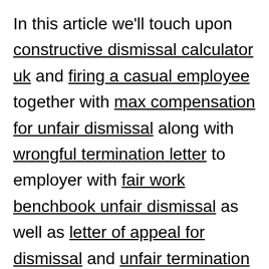In this article we'll touch upon constructive dismissal calculator uk and firing a casual employee together with max compensation for unfair dismissal along with wrongful termination letter to employer with fair work benchbook unfair dismissal as well as letter of appeal for dismissal and unfair termination of employment including employee disciplinary